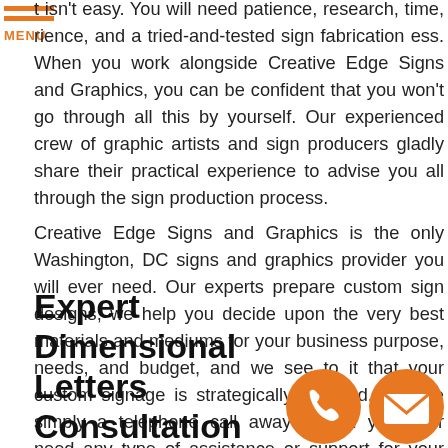[Figure (logo): Hamburger menu icon with three orange horizontal bars and MENU label in orange text]
isn't easy. You will need patience, research, time, rience, and a tried-and-tested sign fabrication ess. When you work alongside Creative Edge Signs and Graphics, you can be confident that you won't go through all this by yourself. Our experienced crew of graphic artists and sign producers gladly share their practical experience to advise you all through the sign production process.
Creative Edge Signs and Graphics is the only Washington, DC signs and graphics provider you will ever need. Our experts prepare custom sign designs, we help you decide upon the very best materials and mediums for your business purpose, needs, and budget, and we see to it that your custom signage is strategically installed. We are simply a telephone call away should you ever need any type of assistance or support for your custom signs.
Expert Dimensional Letters Consultation
[Figure (illustration): Two orange circular contact icons: phone icon and envelope/email icon]